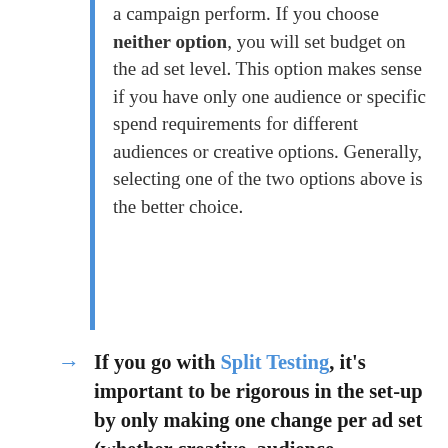a campaign perform. If you choose neither option, you will set budget on the ad set level. This option makes sense if you have only one audience or specific spend requirements for different audiences or creative options. Generally, selecting one of the two options above is the better choice.
If you go with Split Testing, it's important to be rigorous in the set-up by only making one change per ad set (whether creative, audience, placement,